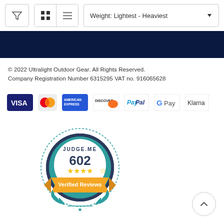[Figure (screenshot): Toolbar with filter icon, grid/list view toggle buttons, and a sort dropdown showing 'Weight: Lightest - Heaviest']
[Figure (other): Dark navy blue banner bar]
© 2022 Ultralight Outdoor Gear. All Rights Reserved.
Company Registration Number 6315295 VAT no. 916065628
[Figure (other): Payment method logos: VISA, Mastercard, American Express, Discover, PayPal, G Pay, Klarna]
[Figure (other): Judge.me badge showing 602 verified reviews with 5 stars]